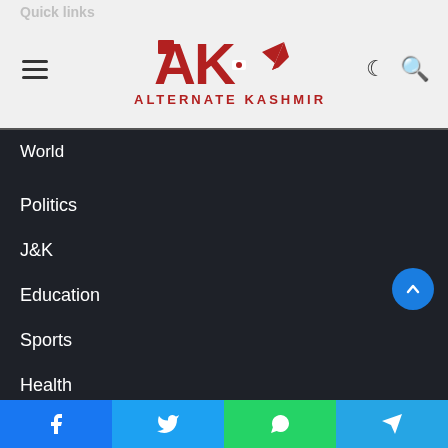Quick links
[Figure (logo): Alternate Kashmir logo with red AK initials and pen/flag graphic, red text ALTERNATE KASHMIR below]
World
Politics
J&K
Education
Sports
Health
General
Tags
2nd Wave of Covid
Asian Games 2018
Budget Travel
Covid-19
DDC polls
Gunfight
India
Indian Army
Facebook  Twitter  WhatsApp  Telegram